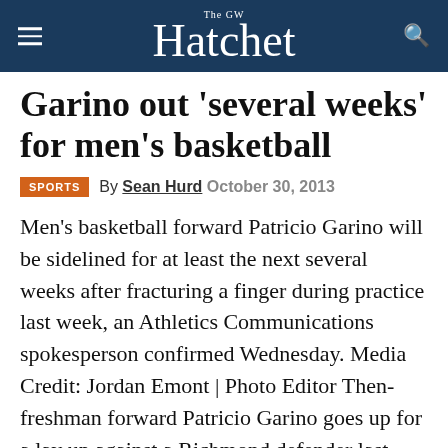The GW Hatchet
Garino out 'several weeks' for men's basketball
SPORTS  By Sean Hurd  October 30, 2013
Men's basketball forward Patricio Garino will be sidelined for at least the next several weeks after fracturing a finger during practice last week, an Athletics Communications spokesperson confirmed Wednesday. Media Credit: Jordan Emont | Photo Editor Then-freshman forward Patricio Garino goes up for a lay up against a Richmond defender last year. The injury puts [...]